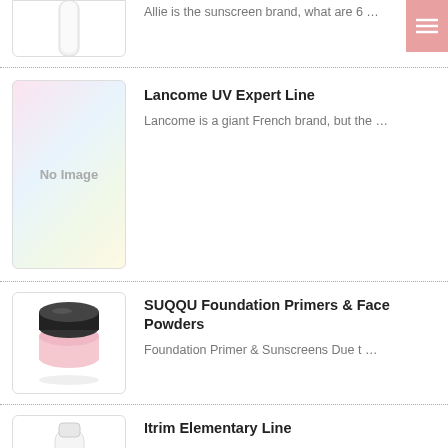[Figure (photo): Partial product image of a white tube/bottle, partially cropped at top]
Allie is the sunscreen brand, what are 6 …
[Figure (photo): No Image placeholder with pastel cloud gradient background]
Lancome UV Expert Line
Lancome is a giant French brand, but the …
[Figure (photo): SUQQU product image: a compact powder/primer in a black-lidded glass jar with pink powder]
SUQQU Foundation Primers & Face Powders
Foundation Primer & Sunscreens Due t …
[Figure (photo): Itrim product image: white tube with cap, partially shown]
Itrim Elementary Line
Itrim is a “big-sis” brand of THREE. Itr …